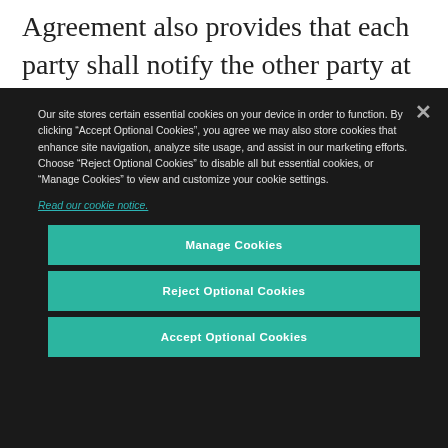Agreement also provides that each party shall notify the other party at least 60 days before adopting any new measures or changes relating to employment law concerning GMB. If one party...
Our site stores certain essential cookies on your device in order to function. By clicking “Accept Optional Cookies”, you agree we may also store cookies that enhance site navigation, analyze site usage, and assist in our marketing efforts. Choose “Reject Optional Cookies” to disable all but essential cookies, or “Manage Cookies” to view and customize your cookie settings.
Read our cookie notice.
Manage Cookies
Reject Optional Cookies
Accept Optional Cookies